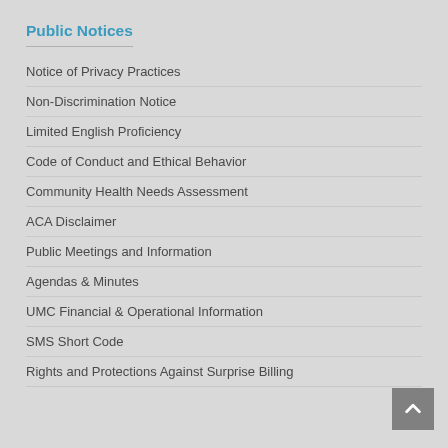Public Notices
Notice of Privacy Practices
Non-Discrimination Notice
Limited English Proficiency
Code of Conduct and Ethical Behavior
Community Health Needs Assessment
ACA Disclaimer
Public Meetings and Information
Agendas & Minutes
UMC Financial & Operational Information
SMS Short Code
Rights and Protections Against Surprise Billing